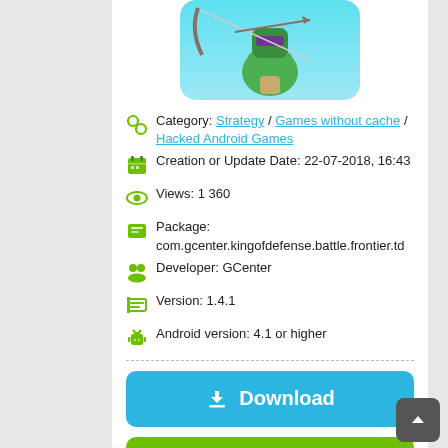[Figure (illustration): Partial game artwork showing a green robot/character with bow and arrow on a blue background, rounded corners]
Category: Strategy / Games without cache / Hacked Android Games
Creation or Update Date: 22-07-2018, 16:43
Views: 1 360
Package: com.gcenter.kingofdefense.battle.frontier.td
Developer: GCenter
Version: 1.4.1
Android version: 4.1 or higher
Download
Update